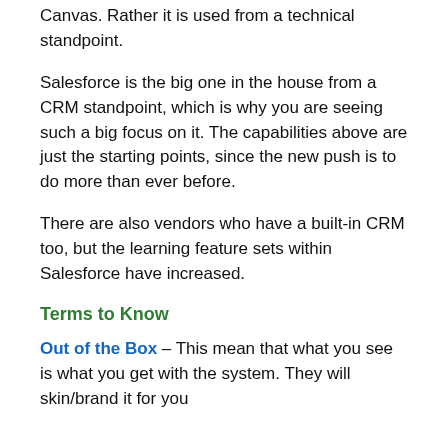Canvas.  Rather it is used from a technical standpoint.
Salesforce is the big one in the house from a CRM standpoint, which is why you are seeing such a big focus on it.  The capabilities above are just the starting points, since the new push is to do more than ever before.
There are also vendors who have a built-in CRM too, but the learning feature sets within Salesforce have increased.
Terms to Know
Out of the Box – This mean that what you see is what you get with the system.  They will skin/brand it for you